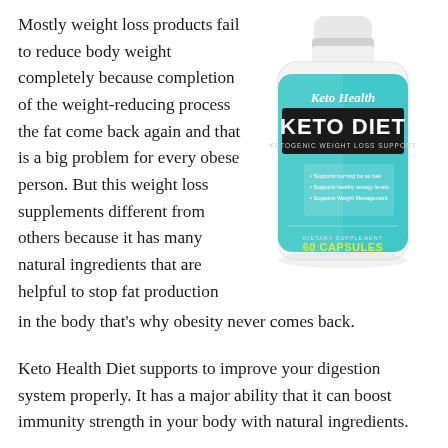Mostly weight loss products fail to reduce body weight completely because completion of the weight-reducing process the fat come back again and that is a big problem for every obese person. But this weight loss supplements different from others because it has many natural ingredients that are helpful to stop fat production in the body that's why obesity never comes back.
[Figure (photo): A supplement bottle labeled 'Keto Health KETO DIET Ketogenic Weight Loss Support 60 Capsules' with a teal/turquoise label, white cap, on a white background.]
Keto Health Diet supports to improve your digestion system properly. It has a major ability that it can boost immunity strength in your body with natural ingredients.